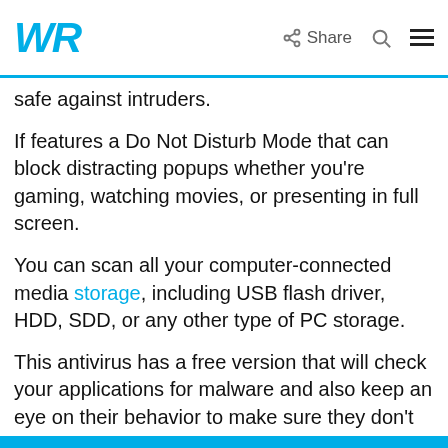WR | Share [search] [menu]
safe against intruders.
If features a Do Not Disturb Mode that can block distracting popups whether you’re gaming, watching movies, or presenting in full screen.
You can scan all your computer-connected media storage, including USB flash driver, HDD, SDD, or any other type of PC storage.
This antivirus has a free version that will check your applications for malware and also keep an eye on their behavior to make sure they don’t suddenly go rogue.
⇒ Get Avast Free Antivirus